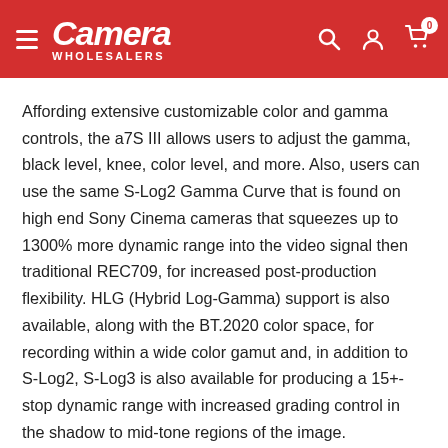Camera Wholesalers
Affording extensive customizable color and gamma controls, the a7S III allows users to adjust the gamma, black level, knee, color level, and more. Also, users can use the same S-Log2 Gamma Curve that is found on high end Sony Cinema cameras that squeezes up to 1300% more dynamic range into the video signal then traditional REC709, for increased post-production flexibility. HLG (Hybrid Log-Gamma) support is also available, along with the BT.2020 color space, for recording within a wide color gamut and, in addition to S-Log2, S-Log3 is also available for producing a 15+-stop dynamic range with increased grading control in the shadow to mid-tone regions of the image.
.
Fast Hybrid AF System